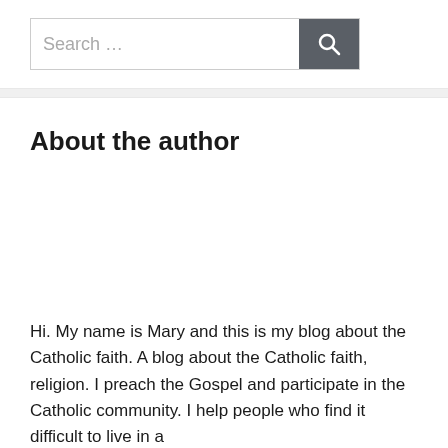[Figure (other): Search bar with text input field showing placeholder 'Search ...' and a dark grey search button with magnifying glass icon]
About the author
Hi. My name is Mary and this is my blog about the Catholic faith. A blog about the Catholic faith, religion. I preach the Gospel and participate in the Catholic community. I help people who find it difficult to live in a